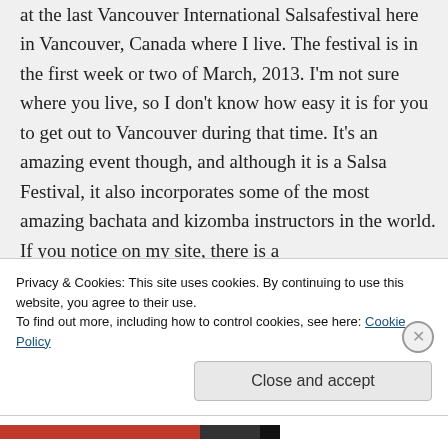at the last Vancouver International Salsafestival here in Vancouver, Canada where I live. The festival is in the first week or two of March, 2013. I'm not sure where you live, so I don't know how easy it is for you to get out to Vancouver during that time. It's an amazing event though, and although it is a Salsa Festival, it also incorporates some of the most amazing bachata and kizomba instructors in the world. If you notice on my site, there is a
Privacy & Cookies: This site uses cookies. By continuing to use this website, you agree to their use. To find out more, including how to control cookies, see here: Cookie Policy
Close and accept